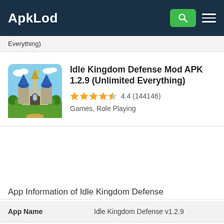ApkLod
Everything)
[Figure (illustration): Idle Kingdom Defense game app icon showing a fantasy castle with blue towers, shield, and green landscape]
Idle Kingdom Defense Mod APK 1.2.9 (Unlimited Everything)
4.4 (144146)  Games, Role Playing
App Information of Idle Kingdom Defense
|  |  |
| --- | --- |
| App Name | Idle Kingdom Defense v1.2.9 |
| Genre | Games, Role Playing |